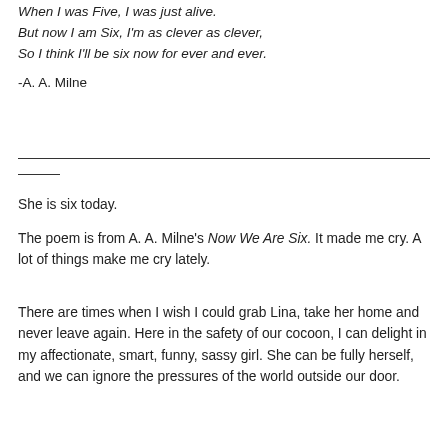When I was Five, I was just alive.
But now I am Six, I'm as clever as clever,
So I think I'll be six now for ever and ever.

-A. A. Milne
She is six today.
The poem is from A. A. Milne's Now We Are Six. It made me cry. A lot of things make me cry lately.
There are times when I wish I could grab Lina, take her home and never leave again. Here in the safety of our cocoon, I can delight in my affectionate, smart, funny, sassy girl. She can be fully herself, and we can ignore the pressures of the world outside our door.